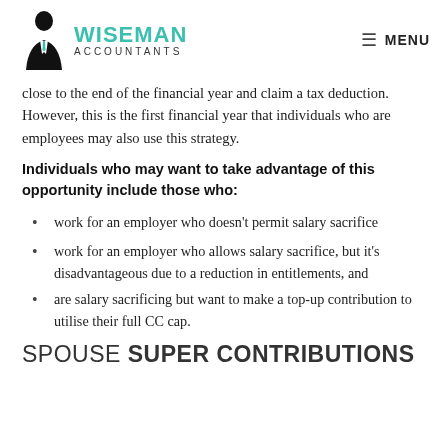WISEMAN ACCOUNTANTS | MENU
close to the end of the financial year and claim a tax deduction. However, this is the first financial year that individuals who are employees may also use this strategy.
Individuals who may want to take advantage of this opportunity include those who:
work for an employer who doesn't permit salary sacrifice
work for an employer who allows salary sacrifice, but it's disadvantageous due to a reduction in entitlements, and
are salary sacrificing but want to make a top-up contribution to utilise their full CC cap.
SPOUSE SUPER CONTRIBUTIONS